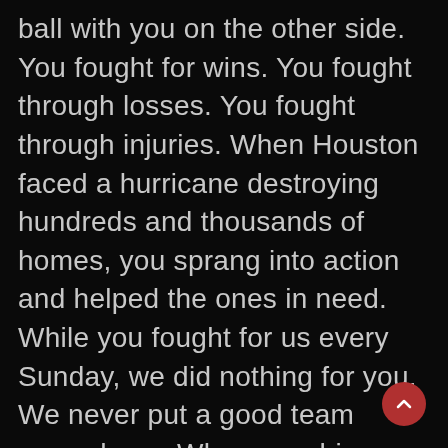ball with you on the other side. You fought for wins. You fought through losses. You fought through injuries. When Houston faced a hurricane destroying hundreds and thousands of homes, you sprang into action and helped the ones in need. While you fought for us every Sunday, we did nothing for you. We never put a good team around you. When coaching was right, there was no good team. When the team was right, the quarterback made us lose. When the quarterback was good, the coaching was horrible. Each week we found different ways to let you down and you continued to fight for